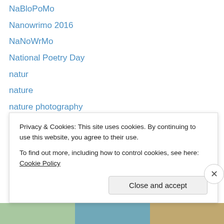NaBloPoMo
Nanowrimo 2016
NaNoWrMo
National Poetry Day
natur
nature
nature photography
nature photos
nature poetry
nature walks
new home
New Year
North Norfolk
northamptonshire (clipped)
Privacy & Cookies: This site uses cookies. By continuing to use this website, you agree to their use. To find out more, including how to control cookies, see here: Cookie Policy
Close and accept